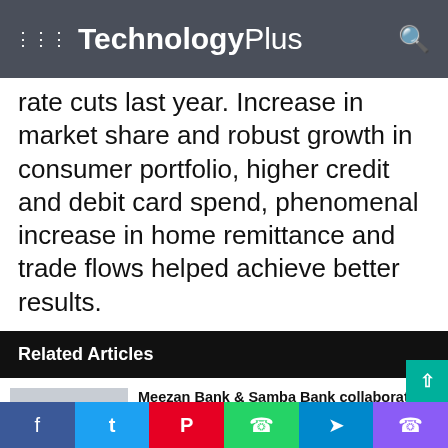TechnologyPlus
rate cuts last year. Increase in market share and robust growth in consumer portfolio, higher credit and debit card spend, phenomenal increase in home remittance and trade flows helped achieve better results.
Related Articles
[Figure (photo): Three men in suits standing together at a formal event]
Meezan Bank & Samba Bank collaborate with Embassy of Pakistan to celebrate the Success of Roshan Digital Account
2 days ago
[Figure (photo): Banner reading LEADERS IN ISLAMABAD with IS IN and Ima text visible]
Pakistan's largest Digital Bank MMBL pledged to